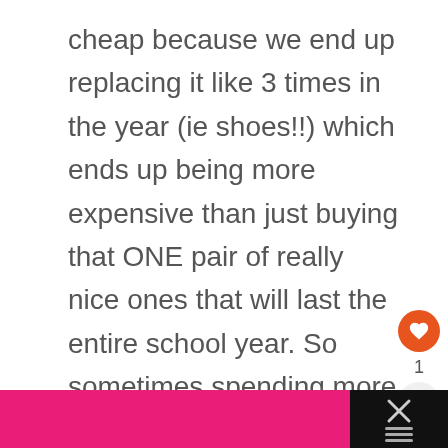cheap because we end up replacing it like 3 times in the year (ie shoes!!) which ends up being more expensive than just buying that ONE pair of really nice ones that will last the entire school year. So sometimes spending more upfront can actually save you a lot of money down the road.
[Figure (screenshot): Bottom bar with pink section and dark section containing an X close icon and a menu (three horizontal lines) icon]